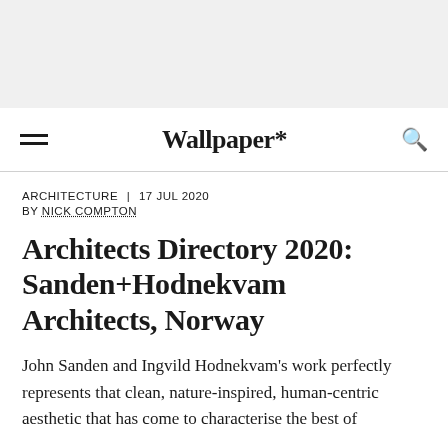[Figure (other): Gray background area at top of page (decorative/image placeholder)]
≡  Wallpaper*  🔍
ARCHITECTURE  |  17 JUL 2020
BY NICK COMPTON
Architects Directory 2020: Sanden+Hodnekvam Architects, Norway
John Sanden and Ingvild Hodnekvam's work perfectly represents that clean, nature-inspired, human-centric aesthetic that has come to characterise the best of